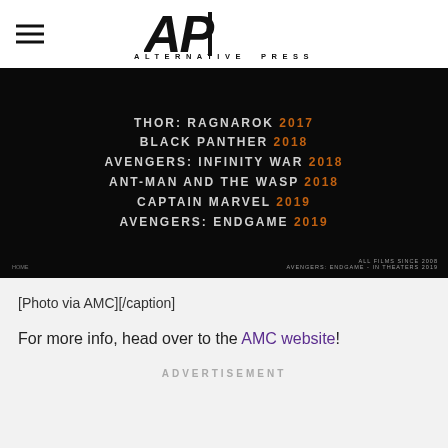Alternative Press
[Figure (photo): Dark background listing Marvel movies: Thor: Ragnarok 2017, Black Panther 2018, Avengers: Infinity War 2018, Ant-Man and the Wasp 2018, Captain Marvel 2019, Avengers: Endgame 2019]
[Photo via AMC][/caption]
For more info, head over to the AMC website!
ADVERTISEMENT